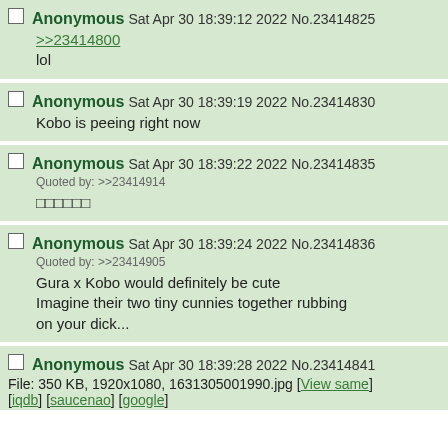Anonymous Sat Apr 30 18:39:12 2022 No.23414825
>>23414800
lol
Anonymous Sat Apr 30 18:39:19 2022 No.23414830
Kobo is peeing right now
Anonymous Sat Apr 30 18:39:22 2022 No.23414835
Quoted by: >>23414914
[boxes]
Anonymous Sat Apr 30 18:39:24 2022 No.23414836
Quoted by: >>23414905
Gura x Kobo would definitely be cute
Imagine their two tiny cunnies together rubbing on your dick...
Anonymous Sat Apr 30 18:39:28 2022 No.23414841
File: 350 KB, 1920x1080, 1631305001990.jpg [View same] [iqdb] [saucenao] [google]